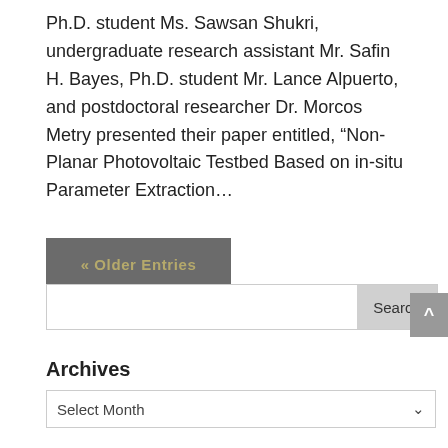Ph.D. student Ms. Sawsan Shukri, undergraduate research assistant Mr. Safin H. Bayes, Ph.D. student Mr. Lance Alpuerto, and postdoctoral researcher Dr. Morcos Metry presented their paper entitled, “Non-Planar Photovoltaic Testbed Based on in-situ Parameter Extraction…
« Older Entries
Search
Archives
Select Month